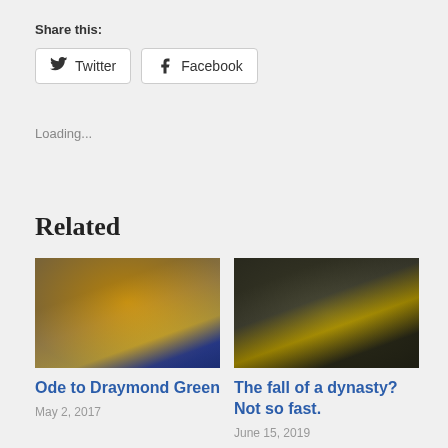Share this:
Twitter  Facebook
Loading...
Related
[Figure (photo): Basketball player Draymond Green in a Golden State Warriors yellow jersey, mouth open, celebrating]
Ode to Draymond Green
May 2, 2017
[Figure (photo): Basketball player in a dark Golden State Warriors jersey with TOWN and number 30, bent over with hands on knees]
The fall of a dynasty? Not so fast.
June 15, 2019